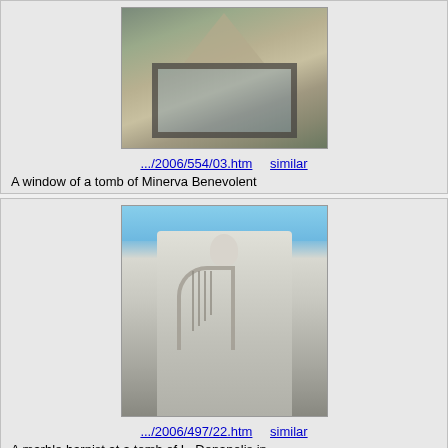[Figure (photo): A window of a tomb structure with stone/brick architectural details, showing a triangular/pyramid top, cemetery setting]
.../2006/554/03.htm    similar
A window of a tomb of Minerva Benevolent
[Figure (photo): A marble statue of a harpist/musician figure holding a harp, draped in robes, at a cemetery tomb]
.../2006/497/22.htm    similar
A marble harpist at a tomb of L. Denapolis in Metairie Cemetery, New Orleans, Louisiana
[Figure (photo): Partial view of a mosaic or decorative tile image at bottom of page]